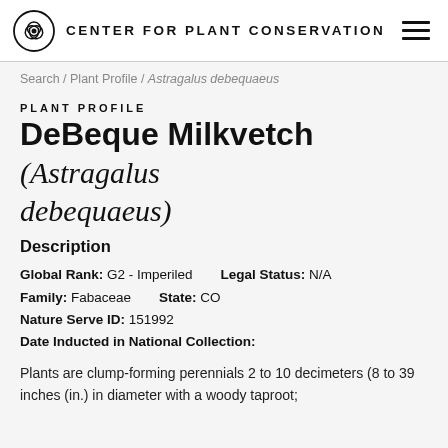CENTER FOR PLANT CONSERVATION
Search / Plant Profile / Astragalus debequaeus
PLANT PROFILE
DeBeque Milkvetch (Astragalus debequaeus)
Description
Global Rank: G2 - Imperiled   Legal Status: N/A
Family: Fabaceae   State: CO
Nature Serve ID: 151992
Date Inducted in National Collection:
Plants are clump-forming perennials 2 to 10 decimeters (8 to 39 inches (in.) in diameter with a woody taproot;